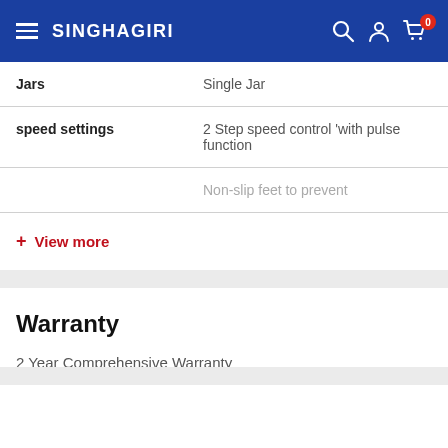SINGHAGIRI
| Attribute | Value |
| --- | --- |
| Jars | Single Jar |
| speed settings | 2 Step speed control 'with pulse function |
|  | Non-slip feet to prevent |
+ View more
Warranty
2 Year Comprehensive Warranty